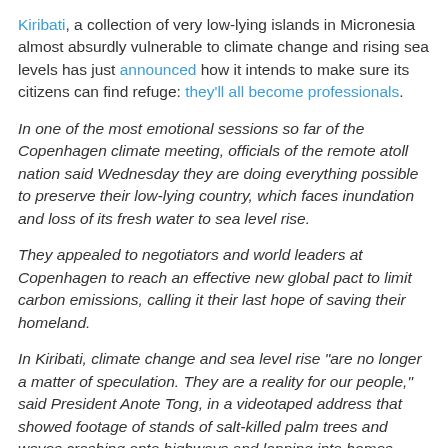Kiribati, a collection of very low-lying islands in Micronesia almost absurdly vulnerable to climate change and rising sea levels has just announced how it intends to make sure its citizens can find refuge: they'll all become professionals.
In one of the most emotional sessions so far of the Copenhagen climate meeting, officials of the remote atoll nation said Wednesday they are doing everything possible to preserve their low-lying country, which faces inundation and loss of its fresh water to sea level rise.
They appealed to negotiators and world leaders at Copenhagen to reach an effective new global pact to limit carbon emissions, calling it their last hope of saving their homeland.
In Kiribati, climate change and sea level rise "are no longer a matter of speculation. They are a reality for our people," said President Anote Tong, in a videotaped address that showed footage of stands of salt-killed palm trees and waves crashing onto highways and lapping into homes.